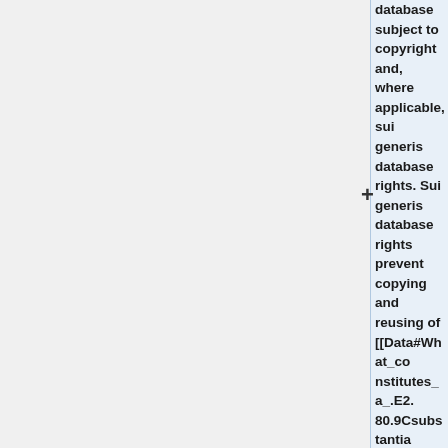database subject to copyright and, where applicable, sui generis database rights. Sui generis database rights prevent copying and reusing of [[Data#What_constitutes_a_.E2.80.9Csubstantial_portion.E2.80.9D_of_a_database.3F|substantial parts]] of a database (including frequent extraction of insubstantial parts). Unlike